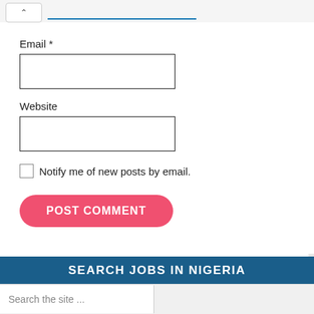[Figure (screenshot): Top bar with up-arrow button and partially visible text input with blue underline]
Email *
[Figure (screenshot): Empty email text input box with black border]
Website
[Figure (screenshot): Empty website text input box with black border]
Notify me of new posts by email.
POST COMMENT
SEARCH JOBS IN NIGERIA
Search the site ...